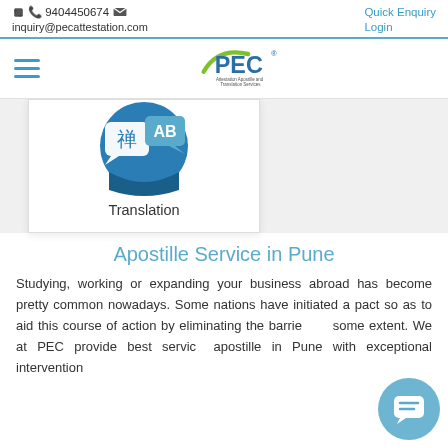9404450674  inquiry@pecattestation.com  Quick Enquiry  Login
[Figure (logo): PEC Attestation Apostille and Translation Services logo with green arc and blue PEC text]
[Figure (illustration): Translation service icon: blue circle with speech bubbles showing Chinese character 禅 and AB text]
Translation
Apostille Service in Pune
Studying, working or expanding your business abroad has become pretty common nowadays. Some nations have initiated a pact so as to aid this course of action by eliminating the barriers to some extent. We at PEC provide best service apostille in Pune with exceptional intervention